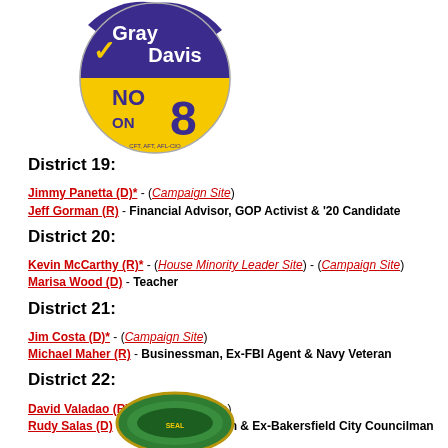[Figure (photo): Gray Davis No on 8 campaign button – circular badge with blue and yellow quarters, checkmark, and CFT AFT AFL-CIO text]
District 19:
Jimmy Panetta (D)* - (Campaign Site)
Jeff Gorman (R) - Financial Advisor, GOP Activist & '20 Candidate
District 20:
Kevin McCarthy (R)* - (House Minority Leader Site) - (Campaign Site)
Marisa Wood (D) - Teacher
District 21:
Jim Costa (D)* - (Campaign Site)
Michael Maher (R) - Businessman, Ex-FBI Agent & Navy Veteran
District 22:
David Valadao (R)* - (Campaign Site)
Rudy Salas (D) - State Assemblyman & Ex-Bakersfield City Councilman
[Figure (photo): Circular green and gold seal/badge at bottom of page]